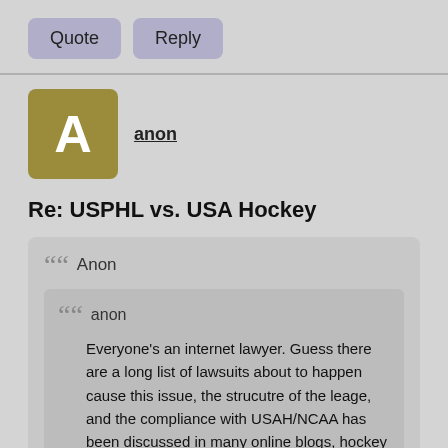Quote | Reply
anon
Re: USPHL vs. USA Hockey
Anon

anon

Everyone's an internet lawyer. Guess there are a long list of lawsuits about to happen cause this issue, the strucutre of the leage, and the compliance with USAH/NCAA has been discussed in many online blogs, hockey rags, league meetings etc.

Apparently the first lawsuit this person will file will be with